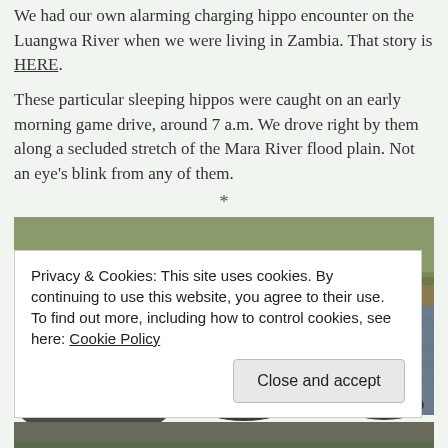We had our own alarming charging hippo encounter on the Luangwa River when we were living in Zambia. That story is HERE.
These particular sleeping hippos were caught on an early morning game drive, around 7 a.m. We drove right by them along a secluded stretch of the Mara River flood plain. Not an eye's blink from any of them.
*
[Figure (photo): Hippos resting in a shallow river (the Mara River), seen from a vehicle during an early morning game drive. The river is muddy brown-grey; vegetation and rocks are visible in the background.]
Privacy & Cookies: This site uses cookies. By continuing to use this website, you agree to their use.
To find out more, including how to control cookies, see here: Cookie Policy
Close and accept